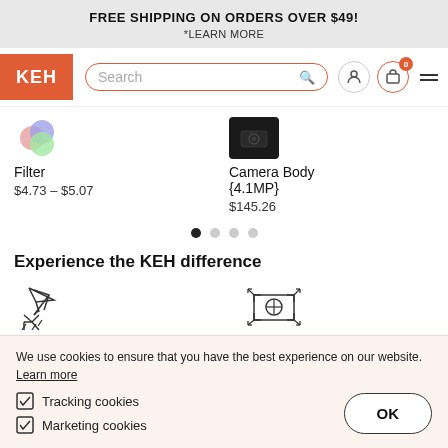FREE SHIPPING ON ORDERS OVER $49!
*LEARN MORE
[Figure (screenshot): KEH logo (orange background, white text), search bar with orange border, user icon, cart icon with badge '0', hamburger menu]
Filter
$4.73 – $5.07
Camera Body {4.1MP}
$145.26
[Figure (other): Carousel navigation dots: 4 dots, first one active (dark)]
Experience the KEH difference
[Figure (illustration): Arrow/cursor icon - More Freedom]
[Figure (illustration): Expand/resize icon - More possibility]
We use cookies to ensure that you have the best experience on our website. Learn more
Tracking cookies
Marketing cookies